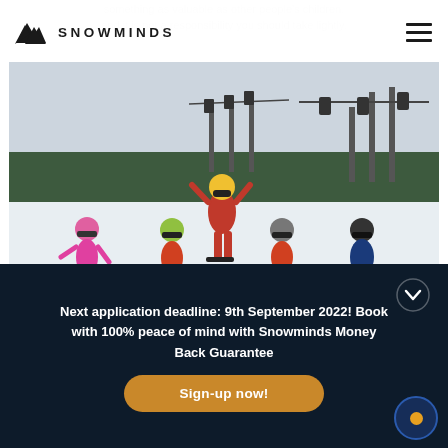something as valuable as other people's children, and it is not a responsibility you should take lightly.
SNOWMINDS
[Figure (photo): Ski instructor in red jacket posing with four young children in ski gear on a snowy slope with ski lifts and pine trees in the background.]
Next application deadline: 9th September 2022! Book with 100% peace of mind with Snowminds Money Back Guarantee
Sign-up now!